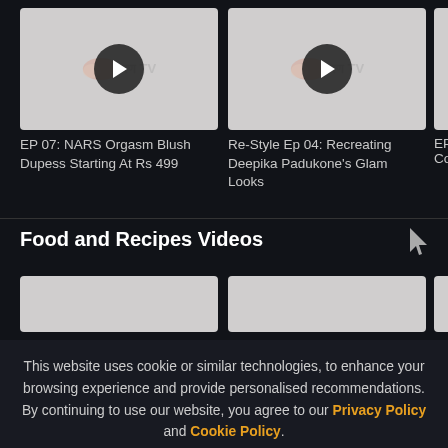[Figure (screenshot): Video thumbnail for EP 07: NARS Orgasm Blush Dupess Starting At Rs 499 with play button and TV watermark]
EP 07: NARS Orgasm Blush Dupess Starting At Rs 499
[Figure (screenshot): Video thumbnail for Re-Style Ep 04: Recreating Deepika Padukone's Glam Looks with play button and TV watermark]
Re-Style Ep 04: Recreating Deepika Padukone's Glam Looks
EP Cor...
Food and Recipes Videos
[Figure (screenshot): Partially loaded video thumbnail (blank/grey)]
[Figure (screenshot): Partially loaded video thumbnail (blank/grey)]
[Figure (screenshot): Partially loaded video thumbnail partial (blank/grey)]
This website uses cookie or similar technologies, to enhance your browsing experience and provide personalised recommendations. By continuing to use our website, you agree to our Privacy Policy and Cookie Policy.
ACCEPT